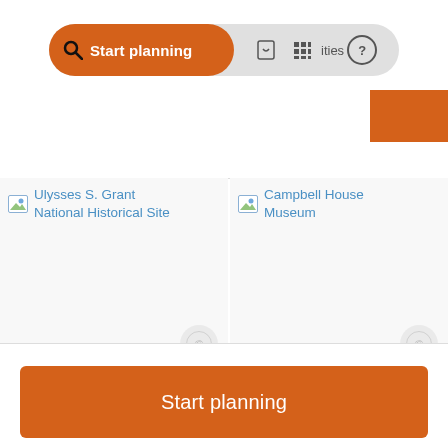[Figure (screenshot): Top navigation bar with search button labeled 'Start planning', bookmark icon, grid icon, and help icon]
[Figure (screenshot): Card showing Ulysses S. Grant National Historical Site with broken image placeholder, category 'HISTORIC SITE', rating 4.6 stars, duration 2 hours]
[Figure (screenshot): Card showing Campbell House Museum with broken image placeholder, category 'HISTORIC SITE', rating 4.9 stars, duration 1h 30 min]
Start planning